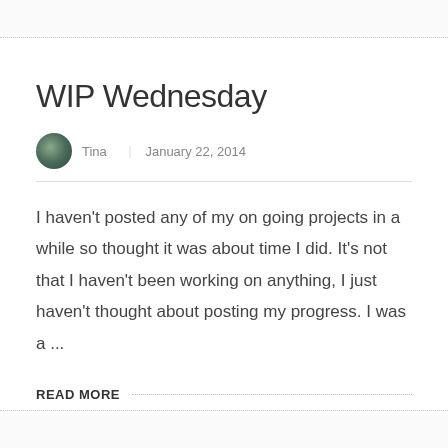WIP Wednesday
Tina  |  January 22, 2014
I haven't posted any of my on going projects in a while so thought it was about time I did. It's not that I haven't been working on anything, I just haven't thought about posting my progress. I was a ...
READ MORE